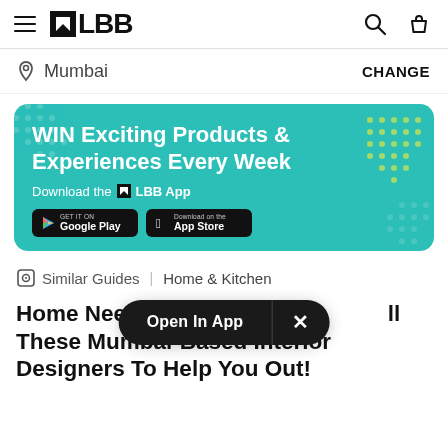LBB — Mumbai
[Figure (infographic): LBB app promotional banner: WIN Exciting Products & Experiences Every Week. Download the LBB App. Google Play and App Store buttons.]
Similar Guides   Home & Kitchen
Home Need [Open In App ×] ll These Mumbai-Based Interior Designers To Help You Out!